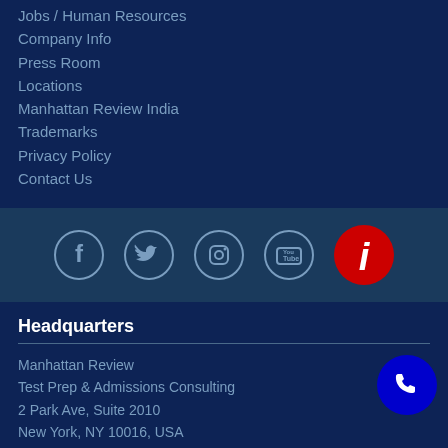Jobs / Human Resources
Company Info
Press Room
Locations
Manhattan Review India
Trademarks
Privacy Policy
Contact Us
[Figure (infographic): Social media icons: Facebook, Twitter, Instagram, YouTube in circles, plus a red circle info button and a blue phone button]
Headquarters
Manhattan Review
Test Prep & Admissions Consulting
2 Park Ave, Suite 2010
New York, NY 10016, USA